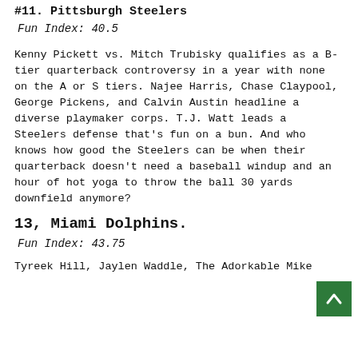#11. Pittsburgh Steelers
Fun Index: 40.5
Kenny Pickett vs. Mitch Trubisky qualifies as a B-tier quarterback controversy in a year with none on the A or S tiers. Najee Harris, Chase Claypool, George Pickens, and Calvin Austin headline a diverse playmaker corps. T.J. Watt leads a Steelers defense that's fun on a bun. And who knows how good the Steelers can be when their quarterback doesn't need a baseball windup and an hour of hot yoga to throw the ball 30 yards downfield anymore?
13, Miami Dolphins.
Fun Index: 43.75
Tyreek Hill, Jaylen Waddle, The Adorkable Mike